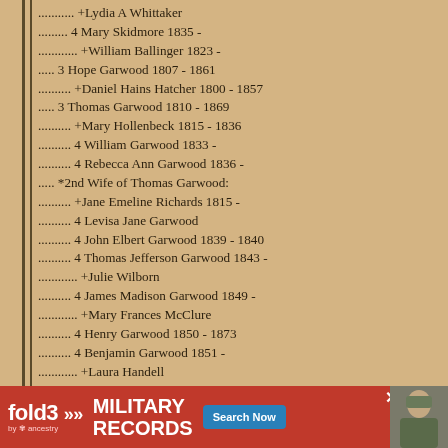........... +Lydia A Whittaker
......... 4 Mary Skidmore 1835 -
............ +William Ballinger 1823 -
..... 3 Hope Garwood 1807 - 1861
.......... +Daniel Hains Hatcher 1800 - 1857
..... 3 Thomas Garwood 1810 - 1869
.......... +Mary Hollenbeck 1815 - 1836
.......... 4 William Garwood 1833 -
.......... 4 Rebecca Ann Garwood 1836 -
..... *2nd Wife of Thomas Garwood:
.......... +Jane Emeline Richards 1815 -
.......... 4 Levisa Jane Garwood
.......... 4 John Elbert Garwood 1839 - 1840
.......... 4 Thomas Jefferson Garwood 1843 -
............ +Julie Wilborn
.......... 4 James Madison Garwood 1849 -
............ +Mary Frances McClure
.......... 4 Henry Garwood 1850 - 1873
.......... 4 Benjamin Garwood 1851 -
............ +Laura Handell
.......... 4 Joseph Garwood 1854 -
.......... 4 Lorenzo Garwood 1856 -
[Figure (infographic): fold3 by Ancestry advertisement banner for Military Records with Search Now button and soldier photo]